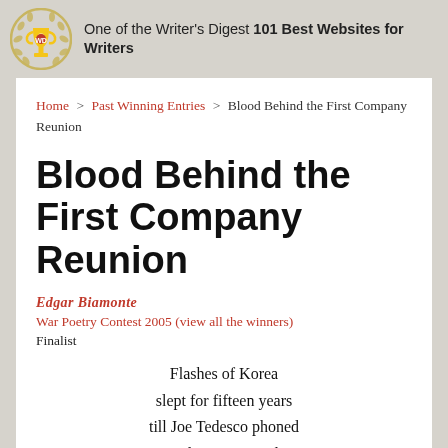One of the Writer's Digest 101 Best Websites for Writers
Home > Past Winning Entries > Blood Behind the First Company Reunion
Blood Behind the First Company Reunion
Edgar Biamonte
War Poetry Contest 2005 (view all the winners)
Finalist
Flashes of Korea
slept for fifteen years
till Joe Tedesco phoned
to split some wonder